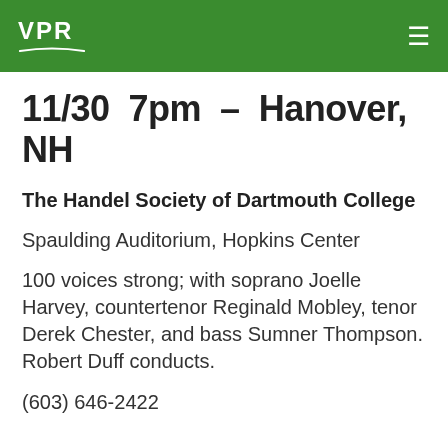VPR
11/30  7pm  –  Hanover, NH
The Handel Society of Dartmouth College
Spaulding Auditorium, Hopkins Center
100 voices strong; with soprano Joelle Harvey, countertenor Reginald Mobley, tenor Derek Chester, and bass Sumner Thompson. Robert Duff conducts.
(603) 646-2422